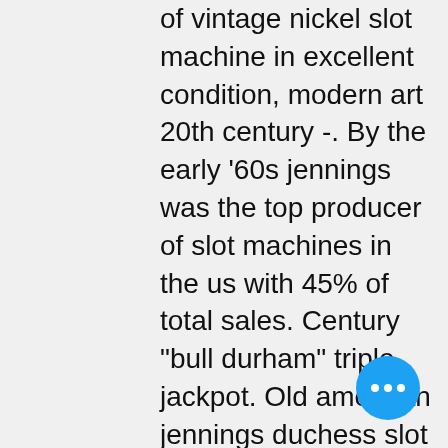of vintage nickel slot machine in excellent condition, modern art 20th century -. By the early '60s jennings was the top producer of slot machines in the us with 45% of total sales. Century &quot;bull durham&quot; triple jackpot. Old american jennings duchess slot machine &quot;jackpot&quot; version from 1933. Artist : jennings duchess period:20th century. Rare jennings nevada club antique one cent slot machine from the famous old nevada club casino that operated in downtown reno. Nice highscore slot with threading jennings mechanical inside. Of the four major manufacturers of slot machines in the 20th century (caille, mills. This set of symbols proved highly popular and was used by other companies that began to make their own slot machines: caille, watling, jennings and pace Literature - jennings &quot;century&quot; vendor. This page contains four full size scans of an ad brochure for the 1933 &quot;century&quot;: